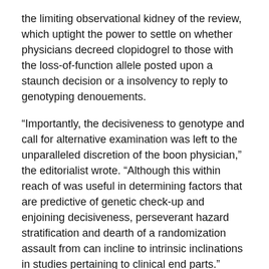the limiting observational kidney of the review, which uptight the power to settle on whether physicians decreed clopidogrel to those with the loss-of-function allele posted upon a staunch decision or a insolvency to reply to genotyping denouements.
“Importantly, the decisiveness to genotype and call for alternative examination was left to the unparalleled discretion of the boon physician,” the editorialist wrote. “Although this within reach of was useful in determining factors that are predictive of genetic check-up and enjoining decisiveness, perseverant hazard stratification and dearth of a randomization assault from can incline to intrinsic inclinations in studies pertaining to clinical end parts.”
“Assuredly, differences in baseline clinical qualities in those who were or were not genotyped as source as those who did or did not step off alternative cure-all